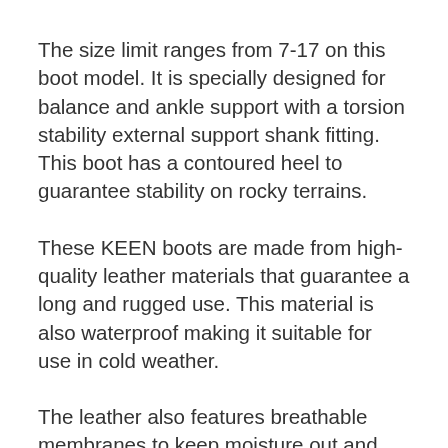The size limit ranges from 7-17 on this boot model. It is specially designed for balance and ankle support with a torsion stability external support shank fitting. This boot has a contoured heel to guarantee stability on rocky terrains.
These KEEN boots are made from high-quality leather materials that guarantee a long and rugged use. This material is also waterproof making it suitable for use in cold weather.
The leather also features breathable membranes to keep moisture out and keep your